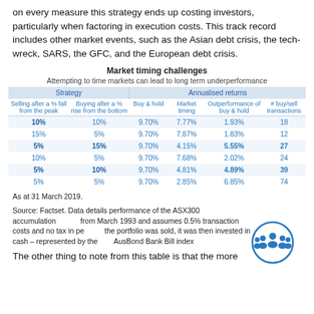on every measure this strategy ends up costing investors, particularly when factoring in execution costs. This track record includes other market events, such as the Asian debt crisis, the tech-wreck, SARS, the GFC, and the European debt crisis.
| Strategy | Annualised returns |
| --- | --- |
| 10% | 10% | 9.70% | 7.77% | 1.93% | 18 |
| 15% | 5% | 9.70% | 7.87% | 1.83% | 12 |
| 5% | 15% | 9.70% | 4.15% | 5.55% | 27 |
| 10% | 5% | 9.70% | 7.68% | 2.02% | 24 |
| 5% | 10% | 9.70% | 4.81% | 4.89% | 39 |
| 5% | 5% | 9.70% | 2.85% | 6.85% | 74 |
Market timing challenges — Attempting to time markets can lead to long term underperformance
As at 31 March 2019.
Source: Factset. Data details performance of the ASX300 accumulation index from March 1993 and assumes 0.5% transaction costs and no tax in performance. When the portfolio was sold, it was then invested in cash – represented by the Bloomberg AusBond Bank Bill index
The other thing to note from this table is that the more